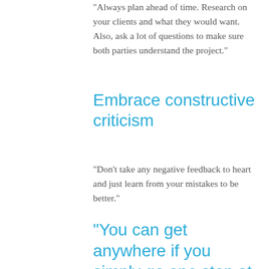“Always plan ahead of time. Research on your clients and what they would want. Also, ask a lot of questions to make sure both parties understand the project.”
Embrace constructive criticism
“Don’t take any negative feedback to heart and just learn from your mistakes to be better.”
“You can get anywhere if you simply go one step at a time” – Dave Ramsey